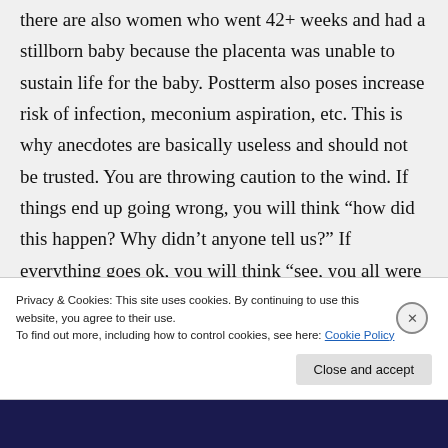there are also women who went 42+ weeks and had a stillborn baby because the placenta was unable to sustain life for the baby. Postterm also poses increase risk of infection, meconium aspiration, etc. This is why anecdotes are basically useless and should not be trusted. You are throwing caution to the wind. If things end up going wrong, you will think “how did this happen? Why didn’t anyone tell us?” If everything goes ok, you will think “see, you all were
Privacy & Cookies: This site uses cookies. By continuing to use this website, you agree to their use.
To find out more, including how to control cookies, see here: Cookie Policy